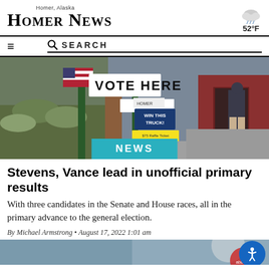Homer News — Homer, Alaska — 52°F
[Figure (photo): Exterior of a polling place with a 'VOTE HERE' sign, an American flag, and a person entering the building. A 'WIN THIS TRUCK!' raffle sign is visible.]
NEWS
Stevens, Vance lead in unofficial primary results
With three candidates in the Senate and House races, all in the primary advance to the general election.
By Michael Armstrong • August 17, 2022 1:01 am